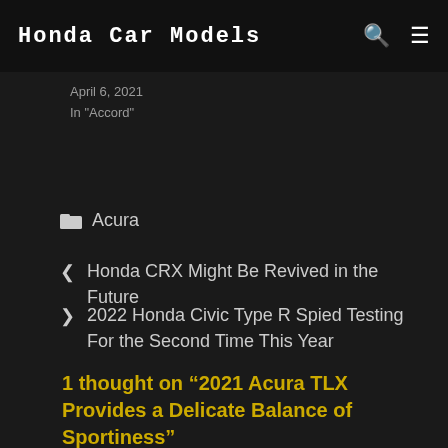Honda Car Models
April 6, 2021
In "Accord"
Acura
< Honda CRX Might Be Revived in the Future
> 2022 Honda Civic Type R Spied Testing For the Second Time This Year
1 thought on “2021 Acura TLX Provides a Delicate Balance of Sportiness”